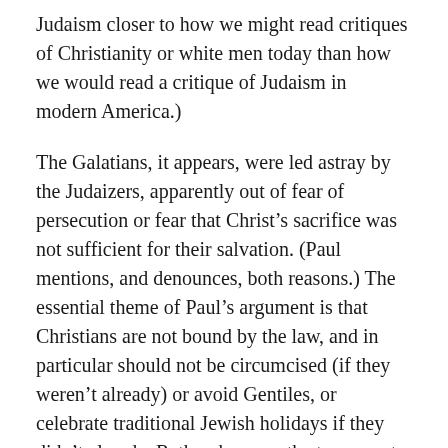Judaism closer to how we might read critiques of Christianity or white men today than how we would read a critique of Judaism in modern America.)
The Galatians, it appears, were led astray by the Judaizers, apparently out of fear of persecution or fear that Christ’s sacrifice was not sufficient for their salvation. (Paul mentions, and denounces, both reasons.) The essential theme of Paul’s argument is that Christians are not bound by the law, and in particular should not be circumcised (if they weren’t already) or avoid Gentiles, or celebrate traditional Jewish holidays if they didn’t already. Rather, he says, the true way to attain God’s blessings is through faith.
------------------------------------------------
This book, along with e.g. the beginning of Romans,